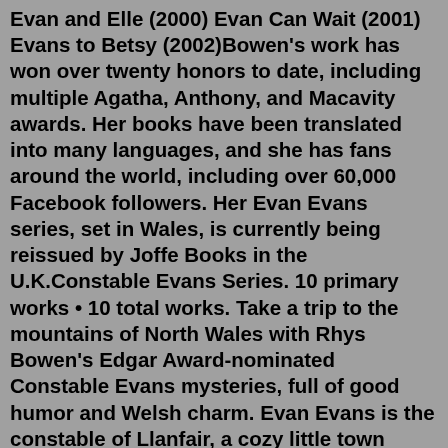Evan and Elle (2000) Evan Can Wait (2001) Evans to Betsy (2002)Bowen's work has won over twenty honors to date, including multiple Agatha, Anthony, and Macavity awards. Her books have been translated into many languages, and she has fans around the world, including over 60,000 Facebook followers. Her Evan Evans series, set in Wales, is currently being reissued by Joffe Books in the U.K.Constable Evans Series. 10 primary works • 10 total works. Take a trip to the mountains of North Wales with Rhys Bowen's Edgar Award-nominated Constable Evans mysteries, full of good humor and Welsh charm. Evan Evans is the constable of Llanfair, a cozy little town filled with unforgettable characters--and the occasional mystery. Evans Above is the first novel in Rhys Bowen's popular Constable Evans Mystery Series, featuring "appealing characters and intriguing plots" (Booklist). Evan Evans is a young police constable who has traded in the violence of city life for idyllic Llanfair, a Welsh village tucked far away from trouble. Nestled among the Snowdonia